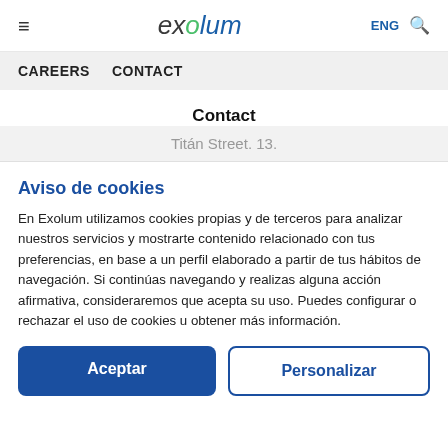≡  exolum  ENG 🔍
CAREERS  CONTACT
Contact
Titán Street. 13.
Aviso de cookies
En Exolum utilizamos cookies propias y de terceros para analizar nuestros servicios y mostrarte contenido relacionado con tus preferencias, en base a un perfil elaborado a partir de tus hábitos de navegación. Si continúas navegando y realizas alguna acción afirmativa, consideraremos que acepta su uso. Puedes configurar o rechazar el uso de cookies u obtener más información.
Aceptar
Personalizar